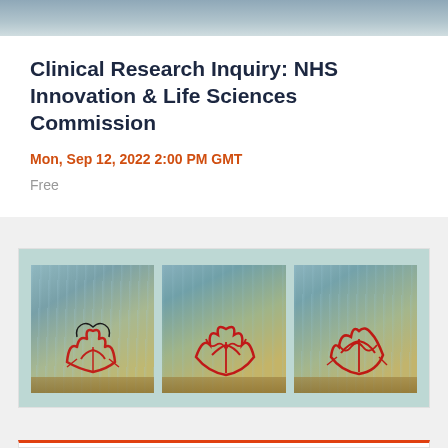[Figure (photo): Top banner photo — partial image of a person, muted blue-gray tones]
Clinical Research Inquiry: NHS Innovation & Life Sciences Commission
Mon, Sep 12, 2022 2:00 PM GMT
Free
[Figure (photo): Three abstract art paintings displayed side by side against a light teal background. Each painting features red calligraphic/graffiti-style marks on a mixed blue-green-gold textured background.]